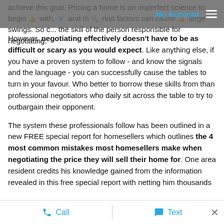My Account [hamburger menu]
achieve this goal. Pricing a home is an imperfect science to begin with, and market factors can cause large swings. So c... the skill of the person responsible for negotiating.
However, negotiating effectively doesn't have to be as difficult or scary as you would expect. Like anything else, if you have a proven system to follow - and know the signals and the language - you can successfully cause the tables to turn in your favour. Who better to borrow these skills from than professional negotiators who daily sit across the table to try to outbargain their opponent.
The system these professionals follow has been outlined in a new FREE special report for homesellers which outlines the 4 most common mistakes most homesellers make when negotiating the price they will sell their home for. One area resident credits his knowledge gained from the information revealed in this free special report with netting him thousands...
Call   Text